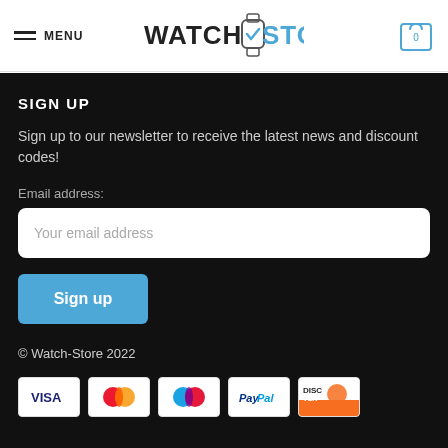MENU | WATCH STORE | 0
SIGN UP
Sign up to our newsletter to receive the latest news and discount codes!
Email address:
Your email address
Sign up
© Watch-Store 2022
[Figure (other): Payment method icons: VISA, Mastercard, Maestro, PayPal, Discover]